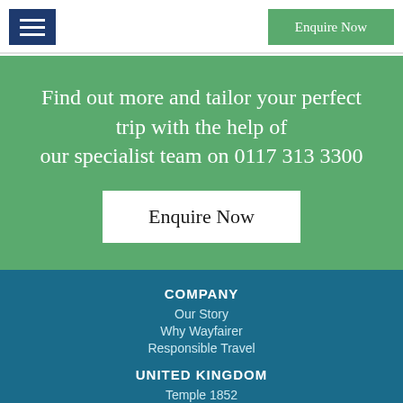☰  Enquire Now
Find out more and tailor your perfect trip with the help of our specialist team on 0117 313 3300
Enquire Now
COMPANY
Our Story
Why Wayfairer
Responsible Travel
UNITED KINGDOM
Temple 1852
Lower Approach Road